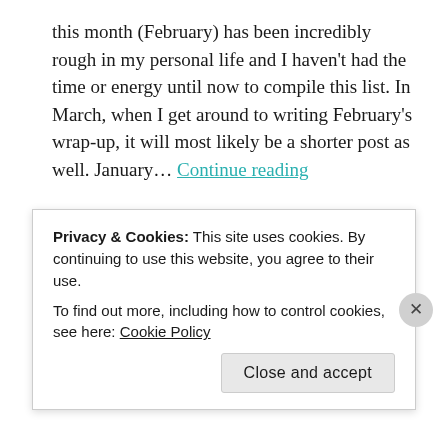this month (February) has been incredibly rough in my personal life and I haven't had the time or energy until now to compile this list. In March, when I get around to writing February's wrap-up, it will most likely be a shorter post as well. January... Continue reading
Tagged 2022, barbara hayden, beatrix barker, books of the month, cm nascosta, january, jt geissinger, ka tucker, kresley cole, Monthly Wrap Up, nikki castle, rebecca zanetti, sally thorne, scarlett st clair, susanna strom, tessa bailey, zoey draven
Privacy & Cookies: This site uses cookies. By continuing to use this website, you agree to their use.
To find out more, including how to control cookies, see here: Cookie Policy